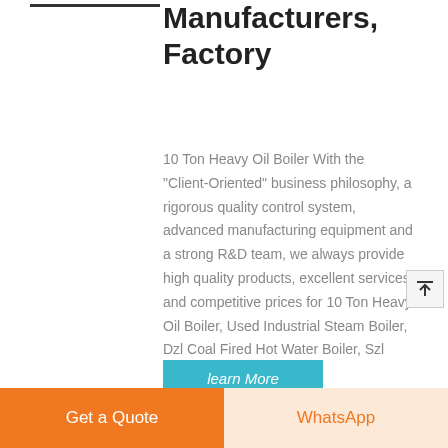Manufacturers, Factory
10 Ton Heavy Oil Boiler With the "Client-Oriented" business philosophy, a rigorous quality control system, advanced manufacturing equipment and a strong R&D team, we always provide high quality products, excellent services and competitive prices for 10 Ton Heavy Oil Boiler, Used Industrial Steam Boiler, Dzl Coal Fired Hot Water Boiler, Szl
learn More
Get a Quote
WhatsApp